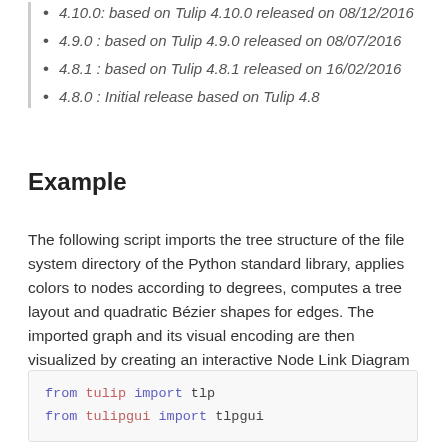4.10.0: based on Tulip 4.10.0 released on 08/12/2016
4.9.0 : based on Tulip 4.9.0 released on 08/07/2016
4.8.1 : based on Tulip 4.8.1 released on 16/02/2016
4.8.0 : Initial release based on Tulip 4.8
Example
The following script imports the tree structure of the file system directory of the Python standard library, applies colors to nodes according to degrees, computes a tree layout and quadratic Bézier shapes for edges. The imported graph and its visual encoding are then visualized by creating an interactive Node Link Diagram view. A window containing an OpenGL visualization of the graph will be created and displayed.
from tulip import tlp
from tulipgui import tlpgui